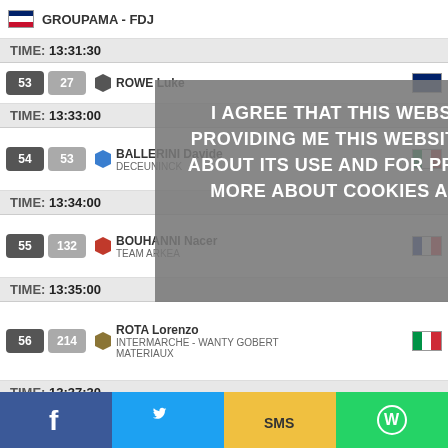GROUPAMA - FDJ
TIME: 13:31:30
53 27 ROWE Luke
TIME: 13:33:00
54 53 BALLERINI Davide — DECEUNINCK
TIME: 13:34:00
55 132 BOUHANNI Nacer — TEAM ARKEA
TIME: 13:35:00
56 214 ROTA Lorenzo — INTERMARCHE - WANTY GOBERT MATERIAUX
TIME: 13:37:30
57 193 BENNETT Sean — TEAM QHUBEKA NEXTHASH
I AGREE THAT THIS WEBSITE USES COOKIES AND SIMILAR TECHNOLOGIES FOR PROVIDING ME THIS WEBSITE AND ITS FUNCTIONALITIES, FOR OBTAINING INSIGHTS ABOUT ITS USE AND FOR PROVIDING ME RELEVANT ADVERTISEMENTS. TO FIND OUT MORE ABOUT COOKIES AND HOW TO MANAGE THEM, PLEASE SEE OUR COOKIE NOTICE.
I ACCEPT